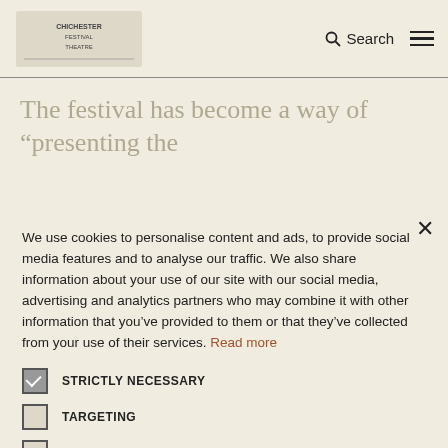Logo | Search | Menu
The festival has become a way of “presenting the
We use cookies to personalise content and ads, to provide social media features and to analyse our traffic. We also share information about your use of our site with our social media, advertising and analytics partners who may combine it with other information that you’ve provided to them or that they’ve collected from your use of their services. Read more
STRICTLY NECESSARY
TARGETING
UNCLASSIFIED
ACCEPT ALL
DECLINE ALL
SHOW DETAILS